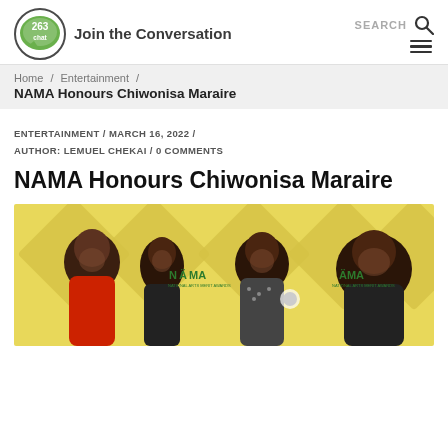[Figure (logo): 263 Chat - Join the Conversation logo with green circular chat bubble icon]
SEARCH [search icon] [hamburger menu]
Home / Entertainment / NAMA Honours Chiwonisa Maraire
ENTERTAINMENT / MARCH 16, 2022 / AUTHOR: LEMUEL CHEKAI / 0 COMMENTS
NAMA Honours Chiwonisa Maraire
[Figure (photo): Four people standing in front of a yellow NAMA (National Arts Merit Awards) branded backdrop. From left: a man in red shirt, a woman, a man in patterned shirt, and a man on the right. NAMA logos visible on the backdrop.]